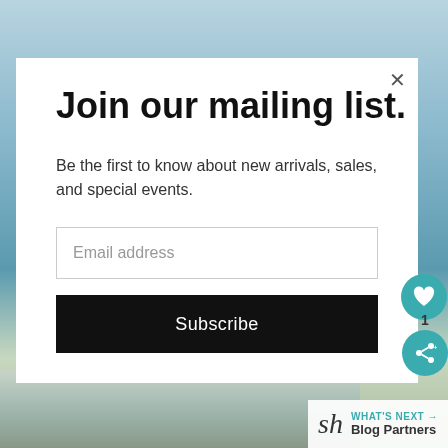[Figure (screenshot): Background photo of outdoor scene with blue sky and greenery, partially visible]
Join our mailing list.
Be the first to know about new arrivals, sales, and special events.
Email address
Subscribe
WHAT'S NEXT → Blog Partners